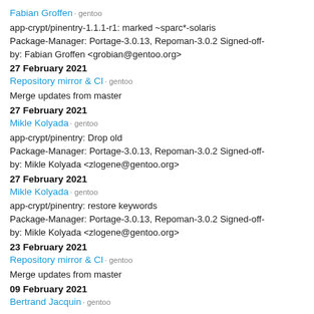Fabian Groffen · gentoo
app-crypt/pinentry-1.1.1-r1: marked ~sparc*-solaris Package-Manager: Portage-3.0.13, Repoman-3.0.2 Signed-off-by: Fabian Groffen <grobian@gentoo.org>
27 February 2021
Repository mirror & CI · gentoo
Merge updates from master
27 February 2021
Mikle Kolyada · gentoo
app-crypt/pinentry: Drop old Package-Manager: Portage-3.0.13, Repoman-3.0.2 Signed-off-by: Mikle Kolyada <zlogene@gentoo.org>
27 February 2021
Mikle Kolyada · gentoo
app-crypt/pinentry: restore keywords Package-Manager: Portage-3.0.13, Repoman-3.0.2 Signed-off-by: Mikle Kolyada <zlogene@gentoo.org>
23 February 2021
Repository mirror & CI · gentoo
Merge updates from master
09 February 2021
Bertrand Jacquin · gentoo